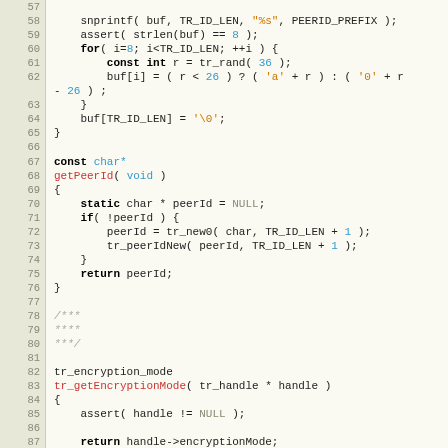[Figure (screenshot): Source code viewer showing C code lines 57-87 with syntax highlighting. Line numbers on left in beige/gray column. Code includes snprintf, assert, for loop, getPeerId function, and tr_getEncryptionMode function with keywords in red/bold, string literals in orange, numeric values in cyan, and NULL/comments in gray.]